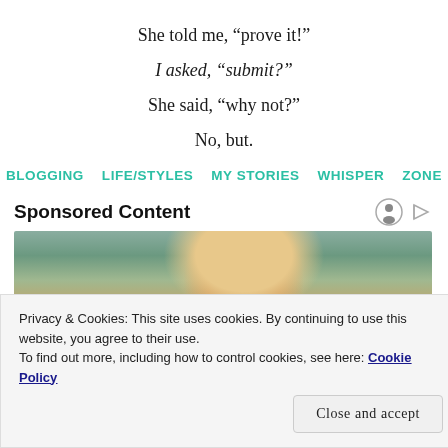She told me, “prove it!”
I asked, “submit?”
She said, “why not?”
No, but.
BLOGGING
LIFE/STYLES
MY STORIES
WHISPER
ZONE
Sponsored Content
[Figure (photo): Person with blonde hair, head bowed, in front of green plants and grey background]
Privacy & Cookies: This site uses cookies. By continuing to use this website, you agree to their use.
To find out more, including how to control cookies, see here: Cookie Policy
Close and accept